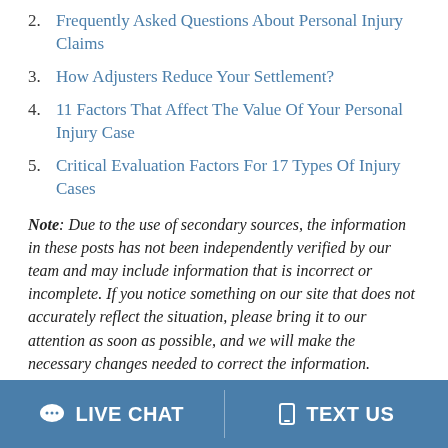2. Frequently Asked Questions About Personal Injury Claims
3. How Adjusters Reduce Your Settlement?
4. 11 Factors That Affect The Value Of Your Personal Injury Case
5. Critical Evaluation Factors For 17 Types Of Injury Cases
Note: Due to the use of secondary sources, the information in these posts has not been independently verified by our team and may include information that is incorrect or incomplete. If you notice something on our site that does not accurately reflect the situation, please bring it to our attention as soon as possible, and we will make the necessary changes needed to correct the information.
LIVE CHAT   TEXT US